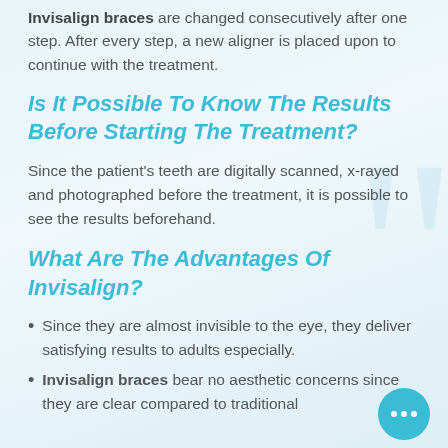Invisalign braces are changed consecutively after one step. After every step, a new aligner is placed upon to continue with the treatment.
Is It Possible To Know The Results Before Starting The Treatment?
Since the patient's teeth are digitally scanned, x-rayed and photographed before the treatment, it is possible to see the results beforehand.
What Are The Advantages Of Invisalign?
Since they are almost invisible to the eye, they deliver satisfying results to adults especially.
Invisalign braces bear no aesthetic concerns since they are clear compared to traditional